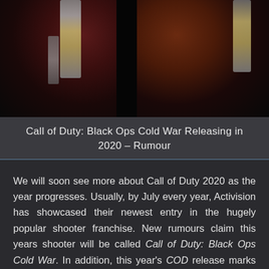[Figure (photo): Dark action game promotional image showing two hands holding weapons/vials against a dark background, split in the middle]
Call of Duty: Black Ops Cold War Releasing in 2020 – Rumour
We will soon see more about Call of Duty 2020 as the year progresses. Usually, by July every year, Activision has showcased their newest entry in the hugely popular shooter franchise. New rumours claim this years shooter will be called Call of Duty: Black Ops Cold War. In addition, this year's COD release marks the 10th anniversary of the Black Ops